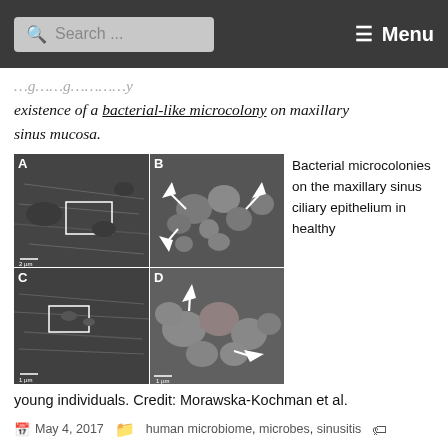Search ... Menu
existence of a bacterial-like microcolony on maxillary sinus mucosa.
[Figure (photo): Four-panel scanning electron microscope image (A, B, C, D) showing bacterial microcolonies on the maxillary sinus ciliary epithelium in healthy young individuals. Panels A and C show lower magnification views with boxed regions, panels B and D show higher magnification with white arrows pointing to bacterial microcolonies. Credit: Morawska-Kochman et al.]
Bacterial microcolonies on the maxillary sinus ciliary epithelium in healthy young individuals. Credit: Morawska-Kochman et al.
May 4, 2017  human microbiome, microbes, sinusitis